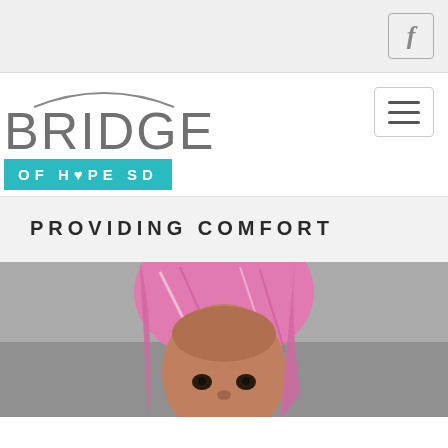[Figure (logo): Facebook icon button in top right corner of page header]
[Figure (logo): Bridge of Hope SD logo with large grey BRIDGE text and teal OF HOPE SD bar with heart symbol]
[Figure (other): Hamburger menu button (three horizontal bars) in top navigation]
PROVIDING COMFORT
[Figure (photo): Close-up photo of a young child wearing a pink patterned headscarf, looking directly at camera]